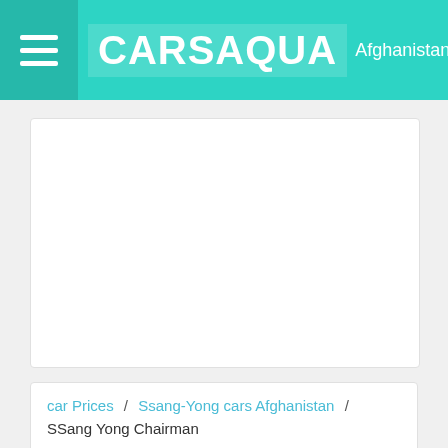CARSAQUA Afghanistan
[Figure (other): Large white empty content card / advertisement space]
car Prices / Ssang-Yong cars Afghanistan / SSang Yong Chairman